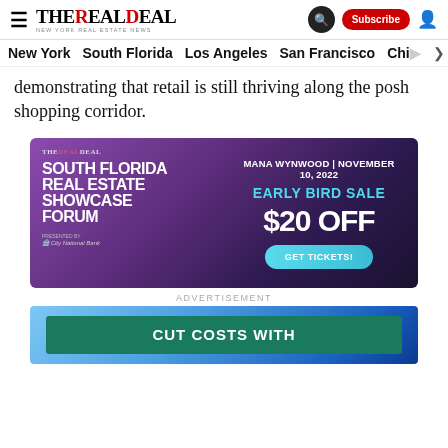THE REAL DEAL — New York Real Estate News | Navigation: New York, South Florida, Los Angeles, San Francisco, Chi...
demonstrating that retail is still thriving along the posh shopping corridor.
[Figure (infographic): The Real Deal — South Florida Real Estate Showcase Forum advertisement. MANA WYNWOOD | NOVEMBER 10, 2022. EARLY BIRD SALE $20 OFF. GET TICKETS! Presented by City National Bank.]
ADVERTISEMENT
[Figure (infographic): Second advertisement banner with blue gradient background and green banner showing 'CUT COSTS WITH']